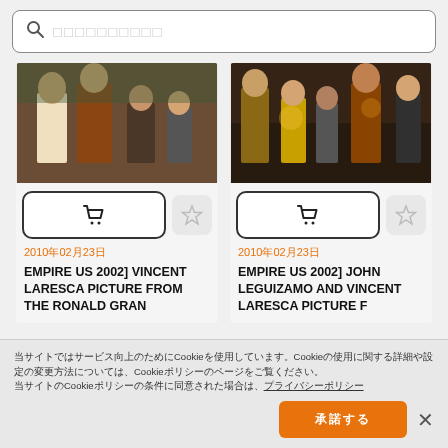[Figure (screenshot): Search bar with magnifying glass icon and placeholder text in Japanese]
[Figure (photo): Movie still showing group of men standing outdoors - Empire US 2002 Vincent Laresca]
[Figure (photo): Movie still showing group of people at party/bar - Empire US 2002 John Leguizamo and Vincent Laresca]
2010年02月23日
2010年02月23日
EMPIRE US 2002] VINCENT LARESCA PICTURE FROM THE RONALD GRAN
EMPIRE US 2002] JOHN LEGUIZAMO AND VINCENT LARESCA PICTURE F
当サイトではサービス向上のためにCookieを使用しています。Cookieの使用に関する詳細や設定の変更方法については、Cookieポリシーのページをご覧ください。 プライバシーポリシー
承諾する